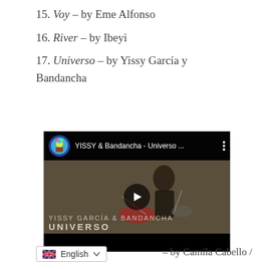15. Voy – by Eme Alfonso
16. River – by Ibeyi
17. Universo – by Yissy García y Bandancha
[Figure (screenshot): YouTube video embed showing YISSY & Bandancha - Universo music video thumbnail with drummer on stage, channel avatar, and video title in top bar]
– by Camila Cabello /